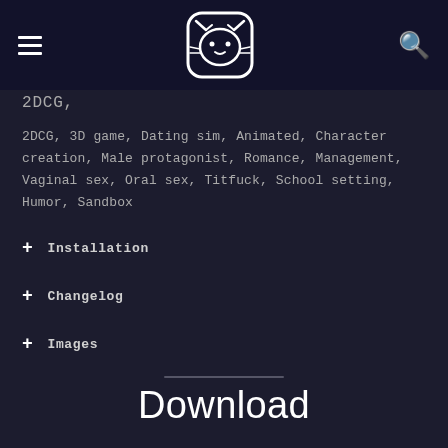[hamburger menu] [cat logo] [search icon]
2DCJC,
2DCG, 3D game, Dating sim, Animated, Character creation, Male protagonist, Romance, Management, Vaginal sex, Oral sex, Titfuck, School setting, Humor, Sandbox
+ Installation
+ Changelog
+ Images
Download
+ Download For Win64